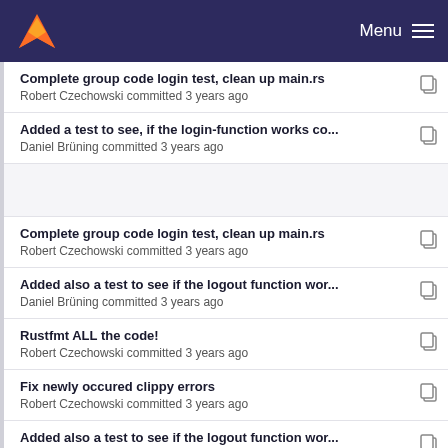Menu
Complete group code login test, clean up main.rs
Robert Czechowski committed 3 years ago
Added a test to see, if the login-function works co...
Daniel Brüning committed 3 years ago
Complete group code login test, clean up main.rs
Robert Czechowski committed 3 years ago
Added also a test to see if the logout function wor...
Daniel Brüning committed 3 years ago
Rustfmt ALL the code!
Robert Czechowski committed 3 years ago
Fix newly occured clippy errors
Robert Czechowski committed 3 years ago
Added also a test to see if the logout function wor...
Daniel Brüning committed 3 years ago
Test contest participation